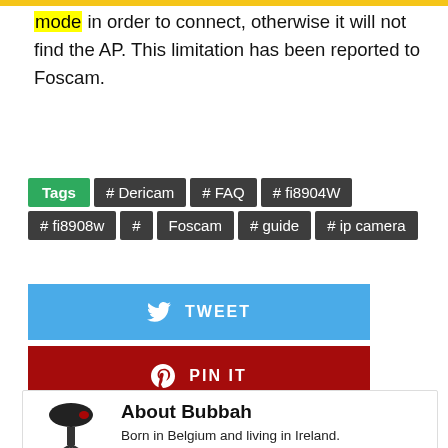mode in order to connect, otherwise it will not find the AP. This limitation has been reported to Foscam.
Tags: # Dericam # FAQ # fi8904W # fi8908w # Foscam # guide # ip camera
[Figure (other): Tweet button (blue), Pin It button (red), Comment button (black)]
[Figure (photo): Photo of a camera tripod/robot figure]
About Bubbah
Born in Belgium and living in Ireland. The nickname Bubbah is derived from a